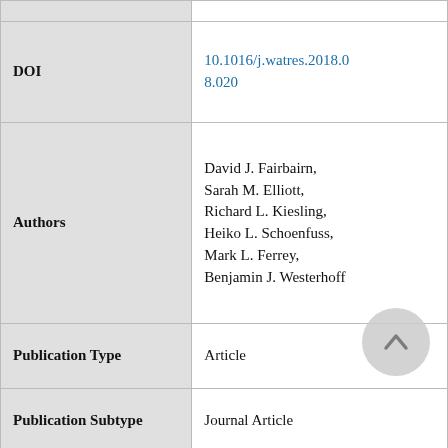| Field | Value |
| --- | --- |
| DOI | 10.1016/j.watres.2018.08.020 |
| Authors | David J. Fairbairn, Sarah M. Elliott, Richard L. Kiesling, Heiko L. Schoenfuss, Mark L. Ferrey, Benjamin J. Westerhoff |
| Publication Type | Article |
| Publication Subtype | Journal Article |
| Series Title | Water Research |
| Index ID | 70199060 |
|  | USGS Publication... |